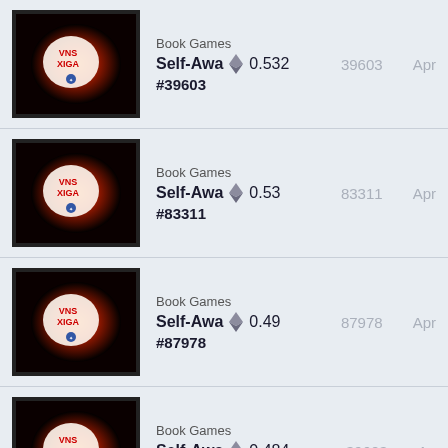Book Games | Self-Awa[re] 0.532 #39603 | 39603 | Apr
Book Games | Self-Awa[re] 0.53 #83311 | 83311 | Apr
Book Games | Self-Awa[re] 0.49 #87978 | 87978 | Apr
Book Games | Self-Awa[re] 0.484 #39603 | 39603 | Ap
Book Games | (partial)